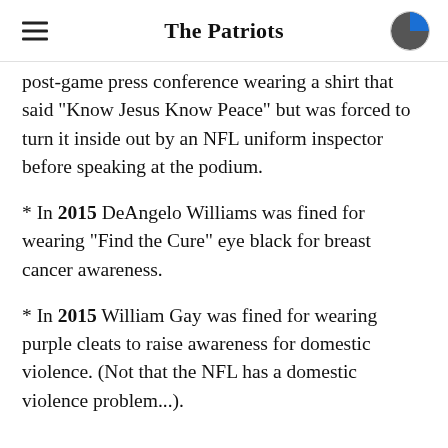The Patriots
post-game press conference wearing a shirt that said "Know Jesus Know Peace" but was forced to turn it inside out by an NFL uniform inspector before speaking at the podium.
* In 2015 DeAngelo Williams was fined for wearing "Find the Cure" eye black for breast cancer awareness.
* In 2015 William Gay was fined for wearing purple cleats to raise awareness for domestic violence. (Not that the NFL has a domestic violence problem...).